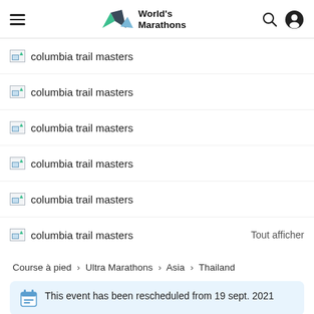World's Marathons
columbia trail masters
columbia trail masters
columbia trail masters
columbia trail masters
columbia trail masters
columbia trail masters
Tout afficher
Course à pied > Ultra Marathons > Asia > Thailand
This event has been rescheduled from 19 sept. 2021